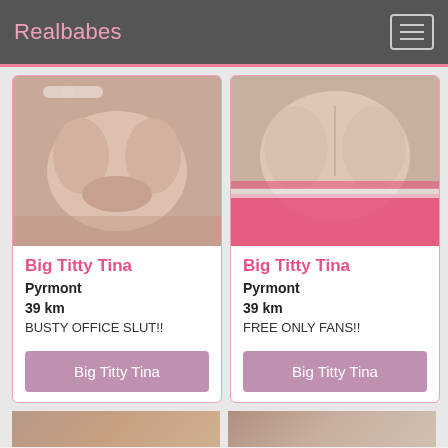Realbabes
[Figure (photo): Card 1: photo of person, text overlay Big Titty Tina, Pyrmont, 39 km, BUSTY OFFICE SLUT!!, button Big Titty Tina]
[Figure (photo): Card 2: photo of person, text overlay Big Titty Tina, Pyrmont, 39 km, FREE ONLY FANS!!, button Big Titty Tina]